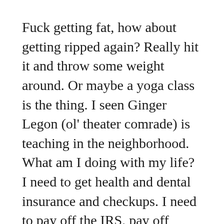Fuck getting fat, how about getting ripped again? Really hit it and throw some weight around. Or maybe a yoga class is the thing. I seen Ginger Legon (ol' theater comrade) is teaching in the neighborhood. What am I doing with my life? I need to get health and dental insurance and checkups. I need to pay off the IRS, pay off MBNA. I need to get rid of that old mattress and replace it with a bookshelf.
I really need to do some art. I need that sweaty unconcsious moment. I need I need I need. I need to not be bored. I need a distraction, a downer, an upper, a challenge, a doorway to a